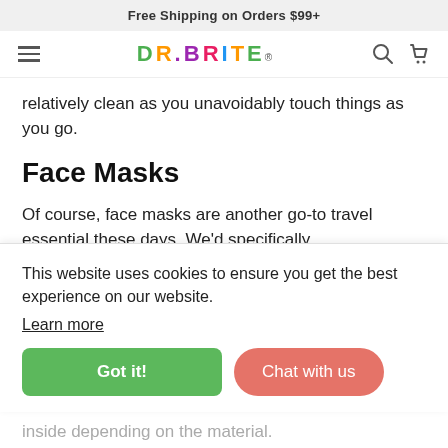Free Shipping on Orders $99+
[Figure (logo): DR. BRITE logo with colorful letters and navigation icons (hamburger menu, search, cart)]
relatively clean as you unavoidably touch things as you go.
Face Masks
Of course, face masks are another go-to travel essential these days. We'd specifically
just
This website uses cookies to ensure you get the best experience on our website.
Learn more
le
ll
inside depending on the material.